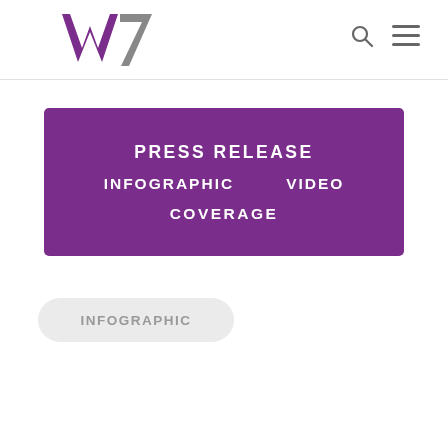[Figure (logo): W7 logo with purple and gray colors]
[Figure (infographic): Purple navigation menu box with labels: PRESS RELEASE, INFOGRAPHIC, VIDEO, COVERAGE]
[Figure (other): Light gray pill-shaped button with text INFOGRAPHIC]